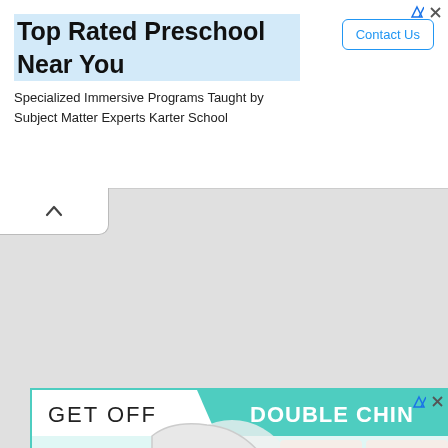[Figure (screenshot): Advertisement banner for 'Top Rated Preschool Near You' - Karter School with Contact Us button]
[Figure (illustration): GET OFF DOUBLE CHIN facial exercise advertisement with illustrations of MOUTH, CHIN, CHEEKS, FOREHEAD exercises]
Erase Wrinkles & Reverse Aging